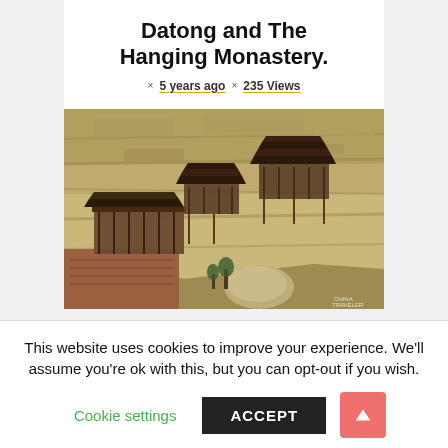Datong and The Hanging Monastery.
× 5 years ago × 235 Views
[Figure (photo): Photo of the Hanging Monastery built into a cliff face in Datong, China. Wooden temple structures with traditional Chinese roofs are perched on the rocky cliff.]
This website uses cookies to improve your experience. We'll assume you're ok with this, but you can opt-out if you wish.
Cookie settings   ACCEPT